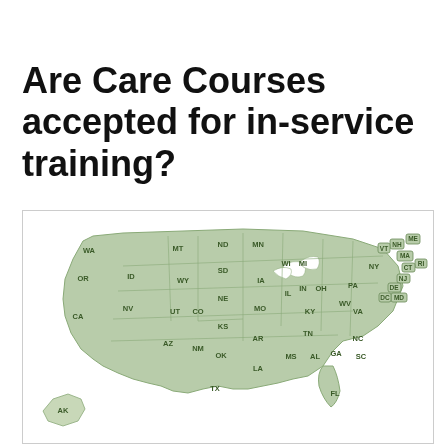Are Care Courses accepted for in-service training?
[Figure (map): A stylized green shaded map of the United States showing all 50 states labeled with their two-letter abbreviations. States in the continental US are labeled: WA, OR, CA, ID, NV, MT, WY, UT, AZ, ND, SD, NE, KS, OK, TX, CO, NM, MN, IA, MO, AR, LA, WI, IL, IN, MI, OH, KY, TN, MS, AL, GA, FL, NC, SC, VA, WV, PA, NY, ME, NH, VT, MA, RI, CT, NJ, DE, MD. Alaska (AK) is shown in the lower left. Small labeled boxes appear for the small Northeast states.]